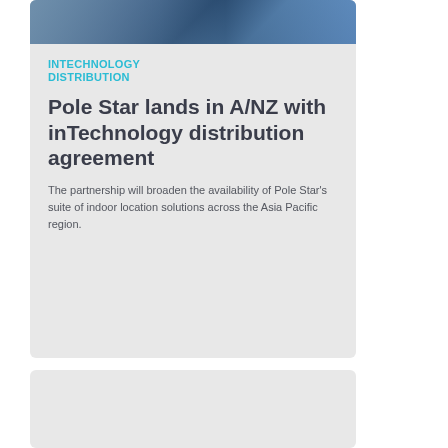[Figure (photo): Dark abstract photo with blue/purple lighting tones, partial silhouettes visible]
INTECHNOLOGY DISTRIBUTION
Pole Star lands in A/NZ with inTechnology distribution agreement
The partnership will broaden the availability of Pole Star's suite of indoor location solutions across the Asia Pacific region.